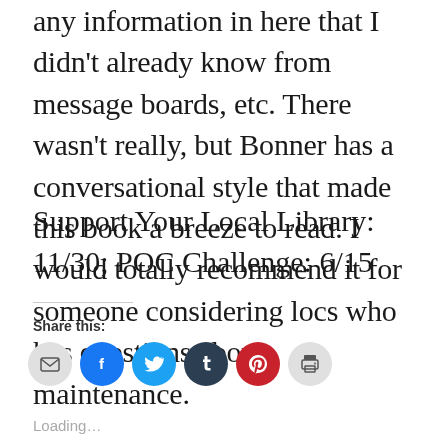any information in here that I didn't already know from message boards, etc. There wasn't really, but Bonner has a conversational style that made this book a breeze to read. I would totally recommend it for someone considering locs who has questions about maintenance.
Support Your Local Library: 11/30; POC Challenge: 6/15
Share this:
[Figure (infographic): Row of social share icon buttons: email (grey), facebook (blue), twitter (light blue), tumblr (dark navy), pinterest (red), print (grey)]
Loading...